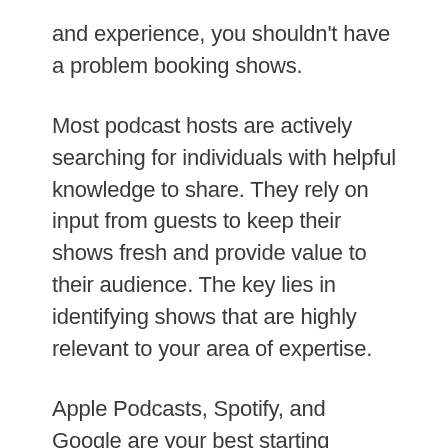and experience, you shouldn't have a problem booking shows.
Most podcast hosts are actively searching for individuals with helpful knowledge to share. They rely on input from guests to keep their shows fresh and provide value to their audience. The key lies in identifying shows that are highly relevant to your area of expertise.
Apple Podcasts, Spotify, and Google are your best starting points. Run a few keyword searches to find podcasts likely to be of interest to your target audience.